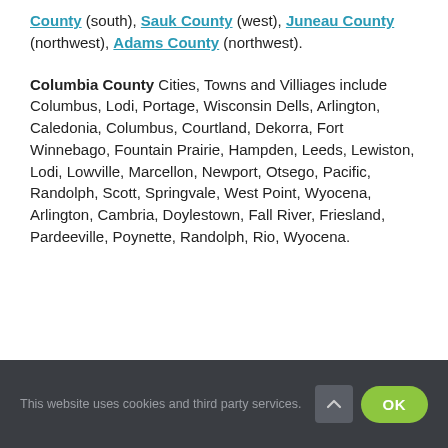County (south), Sauk County (west), Juneau County (northwest), Adams County (northwest).
Columbia County Cities, Towns and Villiages include Columbus, Lodi, Portage, Wisconsin Dells, Arlington, Caledonia, Columbus, Courtland, Dekorra, Fort Winnebago, Fountain Prairie, Hampden, Leeds, Lewiston, Lodi, Lowville, Marcellon, Newport, Otsego, Pacific, Randolph, Scott, Springvale, West Point, Wyocena, Arlington, Cambria, Doylestown, Fall River, Friesland, Pardeeville, Poynette, Randolph, Rio, Wyocena.
This website uses cookies and third party services.